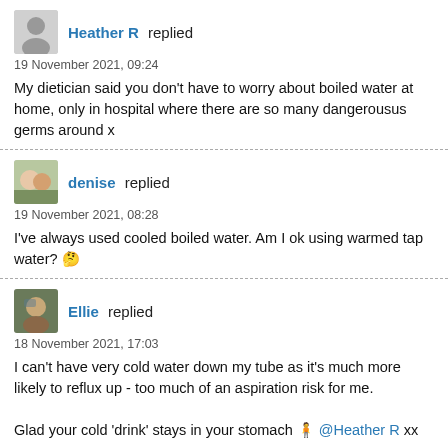Heather R replied
19 November 2021, 09:24
My dietician said you don't have to worry about boiled water at home, only in hospital where there are so many dangerousus germs around x
denise replied
19 November 2021, 08:28
I've always used cooled boiled water. Am I ok using warmed tap water? 🤔
Ellie replied
18 November 2021, 17:03
I can't have very cold water down my tube as it's much more likely to reflux up - too much of an aspiration risk for me.

Glad your cold 'drink' stays in your stomach 🧍 @Heather R xx